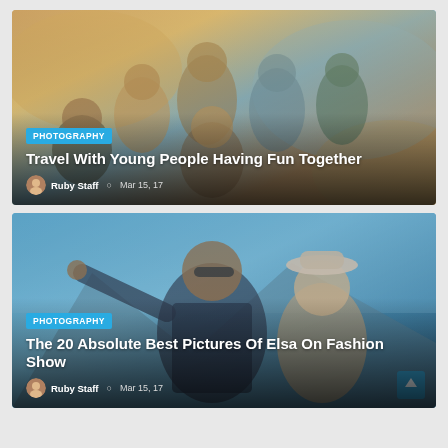[Figure (photo): Group of young people smiling together on a beach, warm sunlit photo]
PHOTOGRAPHY
Travel With Young People Having Fun Together
Ruby Staff  Mar 15, 17
[Figure (photo): Couple taking a selfie outdoors, man in plaid shirt with sunglasses, woman with hat laughing]
PHOTOGRAPHY
The 20 Absolute Best Pictures Of Elsa On Fashion Show
Ruby Staff  Mar 15, 17